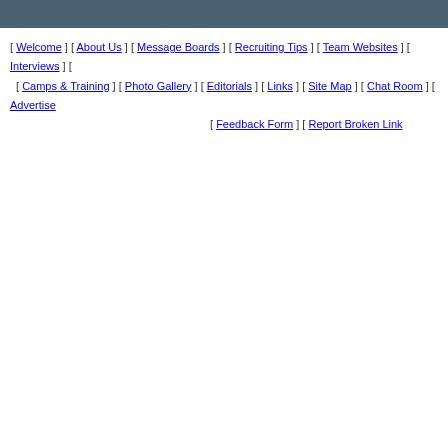[ Welcome ] [ About Us ] [ Message Boards ] [ Recruiting Tips ] [ Team Websites ] [ Interviews ] [ Camps & Training ] [ Photo Gallery ] [ Editorials ] [ Links ] [ Site Map ] [ Chat Room ] [ Advertise ] [ Feedback Form ] [ Report Broken Link